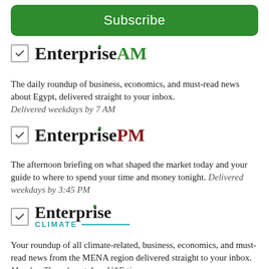Subscribe
[Figure (logo): EnterpriseAM logo with checkbox]
The daily roundup of business, economics, and must-read news about Egypt, delivered straight to your inbox. Delivered weekdays by 7 AM
[Figure (logo): EnterprisePM logo with checkbox]
The afternoon briefing on what shaped the market today and your guide to where to spend your time and money tonight. Delivered weekdays by 3:45 PM
[Figure (logo): Enterprise Climate logo with checkbox]
Your roundup of all climate-related, business, economics, and must-read news from the MENA region delivered straight to your inbox. Monday-Thursday at 4am UAE time